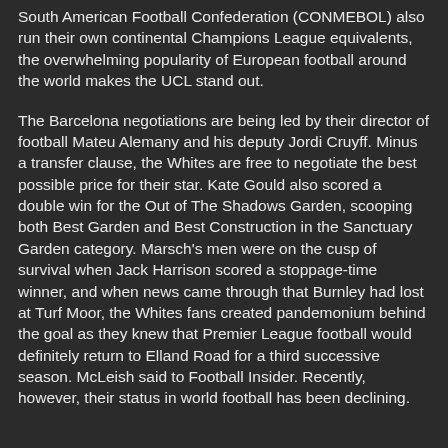South American Football Confederation (CONMEBOL) also run their own continental Champions League equivalents, the overwhelming popularity of European football around the world makes the UCL stand out.
The Barcelona negotiations are being led by their director of football Mateu Alemany and his deputy Jordi Cruyff. Minus a transfer clause, the Whites are free to negotiate the best possible price for their star. Kate Gould also scored a double win for the Out of The Shadows Garden, scooping both Best Garden and Best Construction in the Sanctuary Garden category. Marsch's men were on the cusp of survival when Jack Harrison scored a stoppage-time winner, and when news came through that Burnley had lost at Turf Moor, the Whites fans created pandemonium behind the goal as they knew that Premier League football would definitely return to Elland Road for a third successive season. McLeish said to Football Insider. Recently, however, their status in world football has been declining.